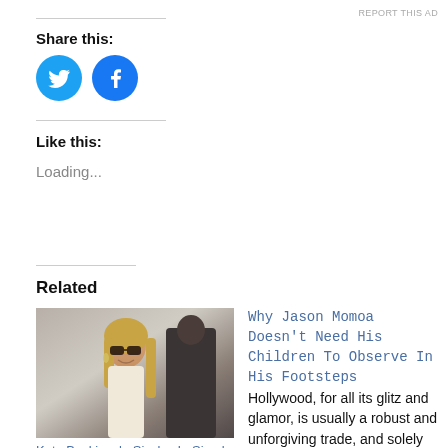Share this:
[Figure (illustration): Twitter bird icon (blue circle) and Facebook 'f' icon (blue circle) social share buttons]
Like this:
Loading...
Related
[Figure (photo): Photo of a woman with sunglasses and long blonde hair smiling outdoors]
Kate Beckinsale Sizzles In Simply Underwear & A Crop Prime For forty ninth Birthday: Pictures
Why Jason Momoa Doesn't Need His Children To Observe In His Footsteps
Hollywood, for all its glitz and glamor, is usually a robust and unforgiving trade, and solely those that are robust sufficient to deal with